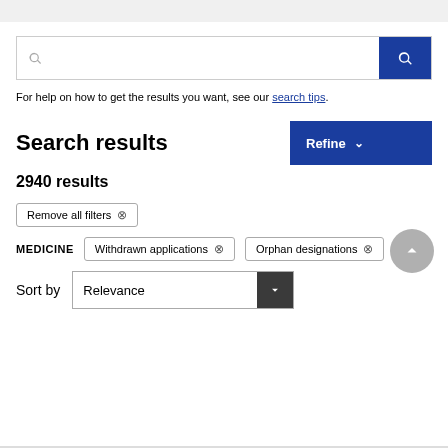For help on how to get the results you want, see our search tips.
Search results
2940 results
Remove all filters ⊗
MEDICINE  Withdrawn applications ⊗  Orphan designations ⊗
Sort by  Relevance